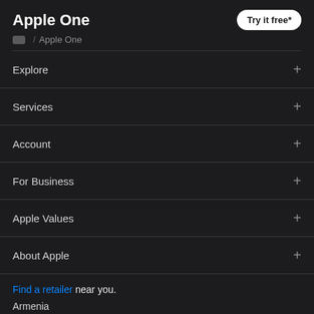Apple One
Try it free*
Apple One
Explore
Services
Account
For Business
Apple Values
About Apple
Find a retailer near you.
Armenia
Copyright © 2022 Apple Inc. All rights reserved.
Privacy Policy | Legal | Site Map